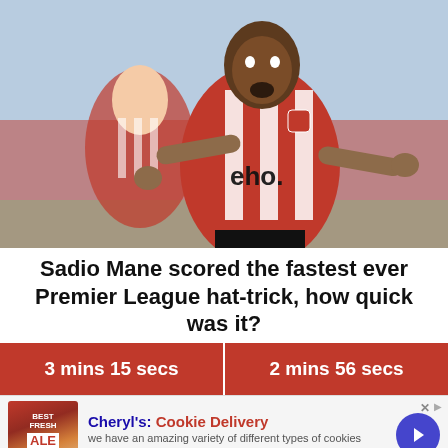[Figure (photo): Sadio Mane celebrating in a red and white striped Southampton kit with arms outstretched, another player visible behind him]
Sadio Mane scored the fastest ever Premier League hat-trick, how quick was it?
3 mins 15 secs
2 mins 56 secs
[Figure (photo): Advertisement: Cheryl's Cookie Delivery - we have an amazing variety of different types of cookies - cheryls.com]